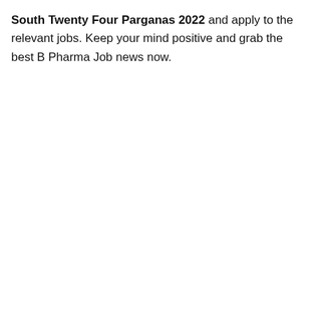South Twenty Four Parganas 2022 and apply to the relevant jobs. Keep your mind positive and grab the best B Pharma Job news now.